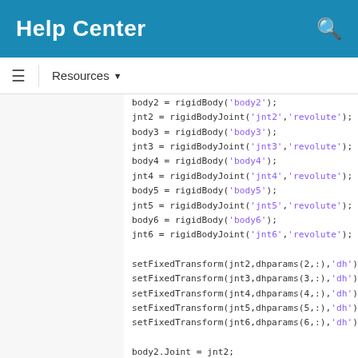Help Center
Resources ▼
body2 = rigidBody('body2');
jnt2 = rigidBodyJoint('jnt2','revolute');
body3 = rigidBody('body3');
jnt3 = rigidBodyJoint('jnt3','revolute');
body4 = rigidBody('body4');
jnt4 = rigidBodyJoint('jnt4','revolute');
body5 = rigidBody('body5');
jnt5 = rigidBodyJoint('jnt5','revolute');
body6 = rigidBody('body6');
jnt6 = rigidBodyJoint('jnt6','revolute');

setFixedTransform(jnt2,dhparams(2,:),'dh')
setFixedTransform(jnt3,dhparams(3,:),'dh')
setFixedTransform(jnt4,dhparams(4,:),'dh')
setFixedTransform(jnt5,dhparams(5,:),'dh')
setFixedTransform(jnt6,dhparams(6,:),'dh')

body2.Joint = jnt2;
body3.Joint = jnt3;
body4.Joint = jnt4;